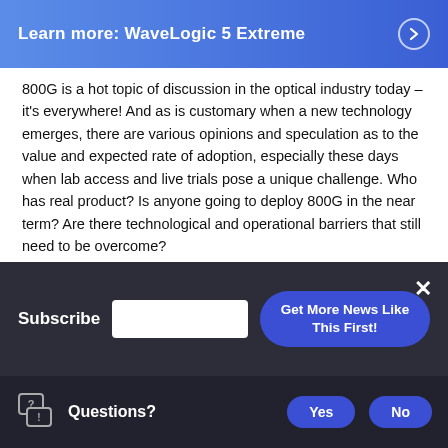[Figure (screenshot): Blue banner with text 'Learn more: WaveLogic 5 Extreme' and a right-arrow circle button]
800G is a hot topic of discussion in the optical industry today – it's everywhere!  And as is customary when a new technology emerges, there are various opinions and speculation as to the value and expected rate of adoption, especially these days when lab access and live trials pose a unique challenge. Who has real product? Is anyone going to deploy 800G in the near term? Are there technological and operational barriers that still need to be overcome?
As the only vendor with commercially available 800G
[Figure (screenshot): Dark subscribe overlay bar with label 'Subscribe', text input field, 'Get More News Like This First!' button, and close (X) button]
[Figure (screenshot): Dark footer bar with chat/question icon, 'Questions?' label, and 'Yes' and 'No' buttons]